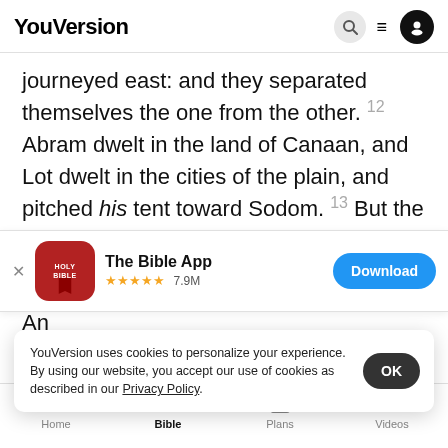YouVersion
journeyed east: and they separated themselves the one from the other. 12 Abram dwelt in the land of Canaan, and Lot dwelt in the cities of the plain, and pitched his tent toward Sodom. 13 But the men of
[Figure (screenshot): The Bible App download banner with Holy Bible app icon, 5 stars, 7.9M ratings, and Download button]
An
was se
and look from the place where thou art northward
YouVersion uses cookies to personalize your experience. By using our website, you accept our use of cookies as described in our Privacy Policy.
Home | Bible | Plans | Videos